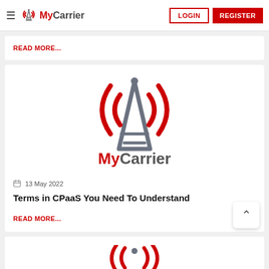MyCarrier — LOGIN | REGISTER
READ MORE...
[Figure (logo): MyCarrier logo: radio tower icon with signal waves in red, brand name 'MyCarrier' below in red and gray]
13 May 2022
Terms in CPaaS You Need To Understand
READ MORE...
[Figure (logo): Partial MyCarrier logo at bottom of page]